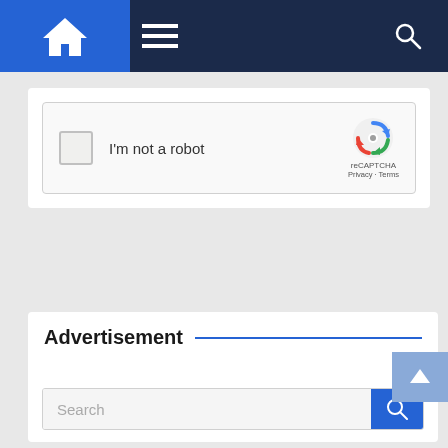[Figure (screenshot): Website navigation bar with blue home icon on left, hamburger menu, and search icon on right, on dark navy background]
[Figure (screenshot): reCAPTCHA widget with checkbox labeled 'I'm not a robot' and reCAPTCHA logo on right]
Post Comment
Advertisement
[Figure (screenshot): Search bar with placeholder text 'Search' and blue search button on right]